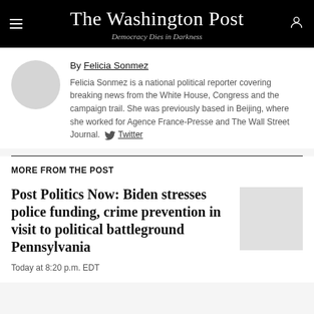The Washington Post — Democracy Dies in Darkness
By Felicia Sonmez
Felicia Sonmez is a national political reporter covering breaking news from the White House, Congress and the campaign trail. She was previously based in Beijing, where she worked for Agence France-Presse and The Wall Street Journal. Twitter
MORE FROM THE POST
Post Politics Now: Biden stresses police funding, crime prevention in visit to political battleground Pennsylvania
Today at 8:20 p.m. EDT